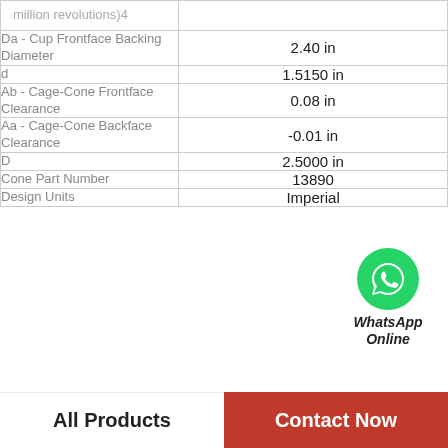| Property | Value |
| --- | --- |
| million revolutions)4 |  |
| Da - Cup Frontface Backing Diameter | 2.40 in |
| d | 1.5150 in |
| Ab - Cage-Cone Frontface Clearance | 0.08 in |
| Aa - Cage-Cone Backface Clearance | -0.01 in |
| D | 2.5000 in |
| Cone Part Number | 13890 |
| Design Units | Imperial |
[Figure (logo): WhatsApp Online button with green circle phone icon and bold italic text 'WhatsApp Online']
All Products
Contact Now